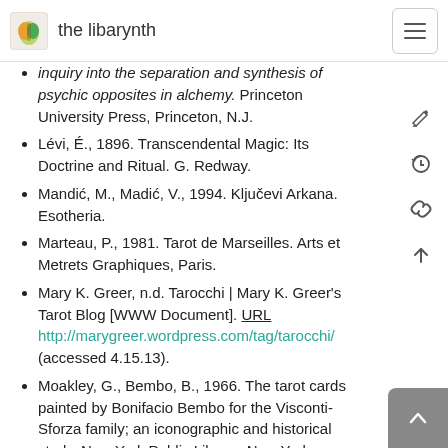the libarynth
inquiry into the separation and synthesis of psychic opposites in alchemy. Princeton University Press, Princeton, N.J.
Lévi, É., 1896. Transcendental Magic: Its Doctrine and Ritual. G. Redway.
Mandić, M., Madić, V., 1994. Ključevi Arkana. Esotheria.
Marteau, P., 1981. Tarot de Marseilles. Arts et Metrets Graphiques, Paris.
Mary K. Greer, n.d. Tarocchi | Mary K. Greer's Tarot Blog [WWW Document]. URL http://marygreer.wordpress.com/tag/tarocchi/ (accessed 4.15.13).
Moakley, G., Bembo, B., 1966. The tarot cards painted by Bonifacio Bembo for the Visconti-Sforza family; an iconographic and historical study. New York Public Library, New York.
Motherpeace Tarot [WWW Document], n.d. URL http://www.motherpeace.com/ (accessed